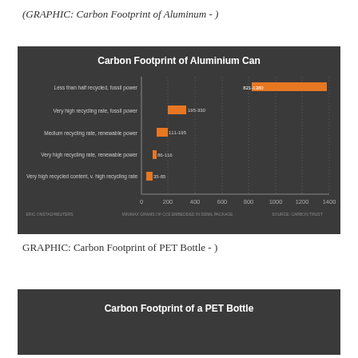(GRAPHIC: Carbon Footprint of Aluminum -)
[Figure (bar-chart): Horizontal bar chart on dark background showing carbon footprint ranges for aluminium cans under different recycling/energy scenarios]
GRAPHIC: Carbon Footprint of PET Bottle -)
[Figure (bar-chart): Partial view of bar chart on dark background showing carbon footprint of PET bottle]